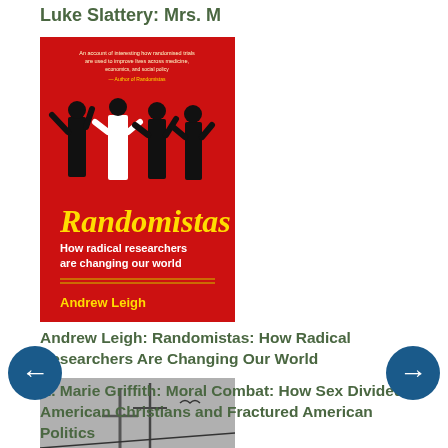Luke Slattery: Mrs. M
[Figure (photo): Book cover of Randomistas by Andrew Leigh - red background with silhouetted figures, yellow title text]
Andrew Leigh: Randomistas: How Radical Researchers Are Changing Our World
[Figure (photo): Book cover of Moral Combat by R. Marie Griffith - black and white photo of crosses, dark background with gold text]
R. Marie Griffith: Moral Combat: How Sex Divided American Christians and Fractured American Politics